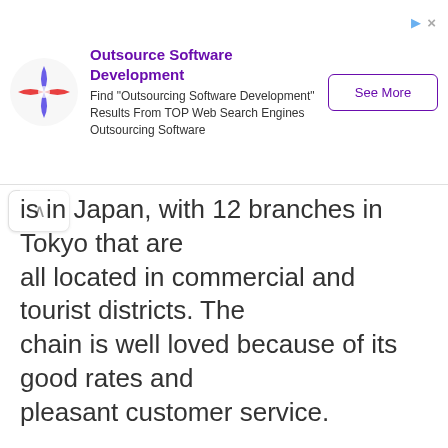[Figure (other): Advertisement banner: Outsource Software Development. Find 'Outsourcing Software Development' Results From TOP Web Search Engines Outsourcing Software. See More button.]
is in Japan, with 12 branches in Tokyo that are all located in commercial and tourist districts. The chain is well loved because of its good rates and pleasant customer service.
Best rates for
– USD
– EUR
– HKD
– CNY
– KRW